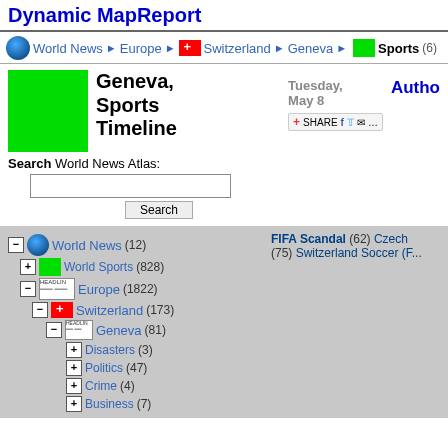Dynamic MapReport
World News ▶ Europe ▶ Switzerland ▶ Geneva ▶ Sports (6)
Geneva, Sports Timeline
Tuesday, May 8
Search World News Atlas:
Search
World News (12)
World Sports (828)
Europe (1822)
Switzerland (173)
Geneva (81)
Disasters (3)
Politics (47)
Crime (4)
Business (7)
FIFA Scandal (62)  Czech (75)  Switzerland Soccer (F...